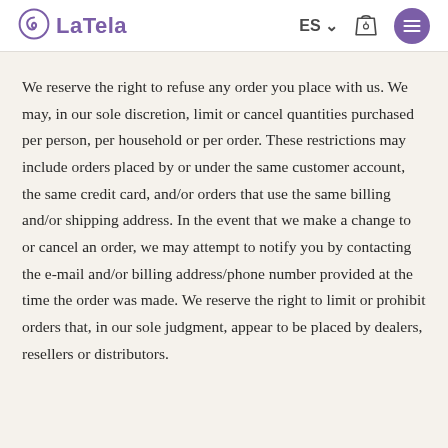LaTela — ES — navigation header
We reserve the right to refuse any order you place with us. We may, in our sole discretion, limit or cancel quantities purchased per person, per household or per order. These restrictions may include orders placed by or under the same customer account, the same credit card, and/or orders that use the same billing and/or shipping address. In the event that we make a change to or cancel an order, we may attempt to notify you by contacting the e-mail and/or billing address/phone number provided at the time the order was made. We reserve the right to limit or prohibit orders that, in our sole judgment, appear to be placed by dealers, resellers or distributors.